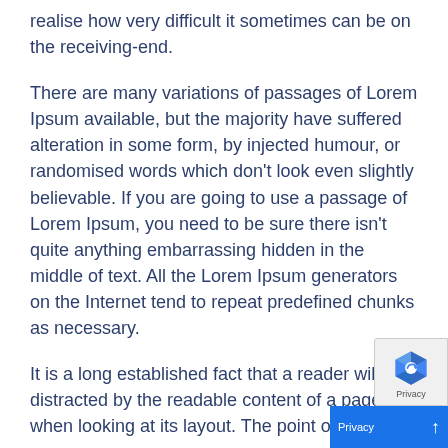realise how very difficult it sometimes can be on the receiving-end.
There are many variations of passages of Lorem Ipsum available, but the majority have suffered alteration in some form, by injected humour, or randomised words which don't look even slightly believable. If you are going to use a passage of Lorem Ipsum, you need to be sure there isn't quite anything embarrassing hidden in the middle of text. All the Lorem Ipsum generators on the Internet tend to repeat predefined chunks as necessary.
It is a long established fact that a reader will be distracted by the readable content of a page when looking at its layout. The point of using